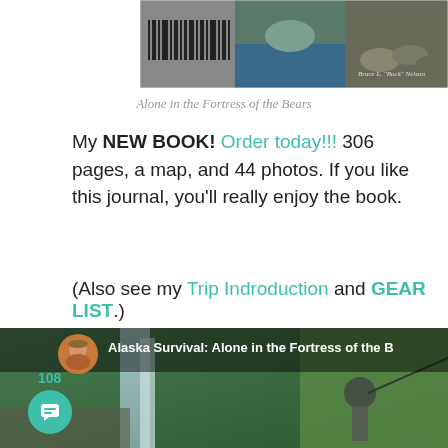[Figure (photo): Book cover for 'Alone in the Fortress of the Bears' by Bruce L. 'Buck' Nelson, showing a barcode, landscape, and rocky scene]
Alone in the Fortress of the Bears
My NEW BOOK! Order today!!!  306 pages, a map, and 44 photos. If you like this journal, you'll really enjoy the book.
(Also see my Trip Indroduction and GEAR LIST.)
[Figure (screenshot): Facebook-style post header showing 'Alaska Survival: Alone in the Fortress of the B...' with a profile photo of a man in a cap, overlaid on a photo of a waterfall, lush greenery, and a man fishing with a rod]